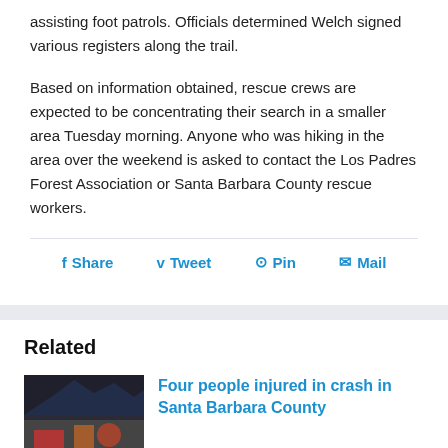assisting foot patrols. Officials determined Welch signed various registers along the trail.
Based on information obtained, rescue crews are expected to be concentrating their search in a smaller area Tuesday morning. Anyone who was hiking in the area over the weekend is asked to contact the Los Padres Forest Association or Santa Barbara County rescue workers.
Share  Tweet  Pin  Mail
Related
Four people injured in crash in Santa Barbara County